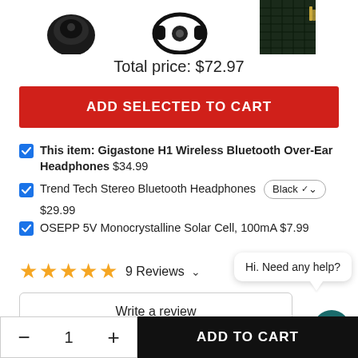[Figure (photo): Three product images partially visible at top: wireless earbud, stereo headphones, and solar cell]
Total price: $72.97
ADD SELECTED TO CART
This item: Gigastone H1 Wireless Bluetooth Over-Ear Headphones $34.99
Trend Tech Stereo Bluetooth Headphones Black $29.99
OSEPP 5V Monocrystalline Solar Cell, 100mA $7.99
9 Reviews
Hi. Need any help?
Write a review
- 1 + ADD TO CART